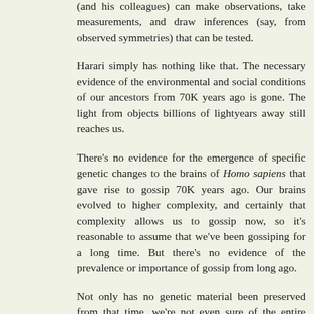(and his colleagues) can make observations, take measurements, and draw inferences (say, from observed symmetries) that can be tested.
Harari simply has nothing like that. The necessary evidence of the environmental and social conditions of our ancestors from 70K years ago is gone. The light from objects billions of lightyears away still reaches us.
There's no evidence for the emergence of specific genetic changes to the brains of Homo sapiens that gave rise to gossip 70K years ago. Our brains evolved to higher complexity, and certainly that complexity allows us to gossip now, so it's reasonable to assume that we've been gossiping for a long time. But there's no evidence of the prevalence or importance of gossip from long ago.
Not only has no genetic material been preserved from that time, we're not even sure of the entire evolutionary path of our species. Did gossip help us wipe out the Neanderthals? Or did they have no